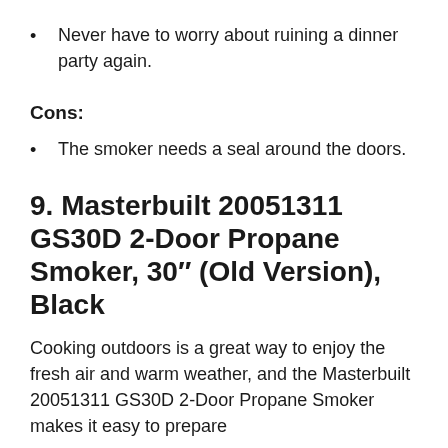Never have to worry about ruining a dinner party again.
Cons:
The smoker needs a seal around the doors.
9. Masterbuilt 20051311 GS30D 2-Door Propane Smoker, 30″ (Old Version), Black
Cooking outdoors is a great way to enjoy the fresh air and warm weather, and the Masterbuilt 20051311 GS30D 2-Door Propane Smoker makes it easy to prepare delicious food. It has a great smoker that